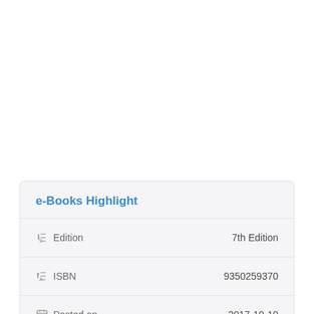e-Books Highlight
| Field | Value |
| --- | --- |
| Edition | 7th Edition |
| ISBN | 9350259370 |
| Posted on | 2017-10-10 |